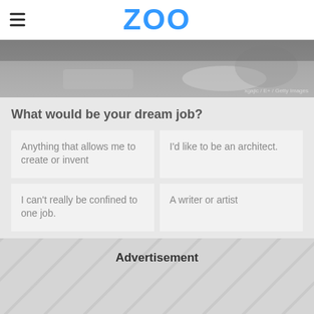ZOO
[Figure (photo): Grayscale photo of hands on a desk with papers and a tablet, partially visible. Credit: xgajic / E+ / Getty Images]
What would be your dream job?
Anything that allows me to create or invent
I'd like to be an architect.
I can't really be confined to one job.
A writer or artist
Advertisement